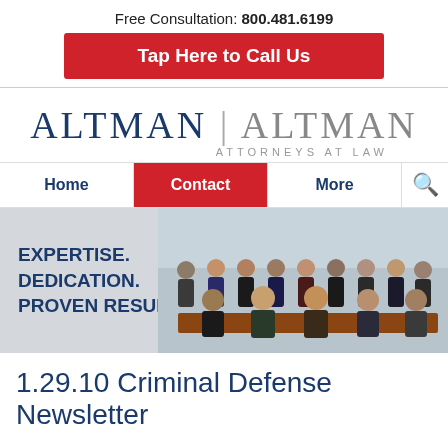Free Consultation: 800.481.6199
Tap Here to Call Us
[Figure (logo): Altman | Altman Attorneys at Law logo]
Home | Contact | More | Search
[Figure (photo): Law firm team photo with tagline: EXPERTISE. DEDICATION. PROVEN RESULTS.]
1.29.10 Criminal Defense Newsletter